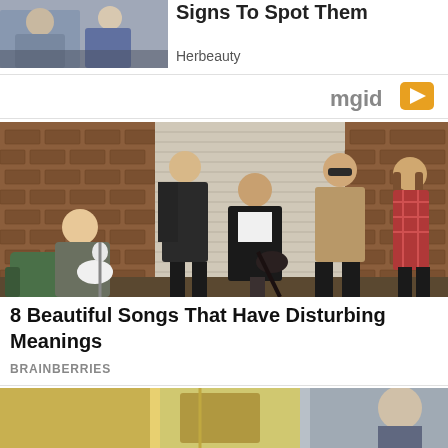[Figure (photo): Small thumbnail photo showing two people (partially visible), used as article preview image]
Signs To Spot Them
Herbeauty
[Figure (logo): mgid logo with orange/yellow triangle arrow icon]
[Figure (photo): Band photo of 5 musicians posing in front of a brick wall and roller door, one holding a white guitar, one holding a dark guitar]
8 Beautiful Songs That Have Disturbing Meanings
BRAINBERRIES
[Figure (photo): Partial bottom strip image, cut off at bottom of page]